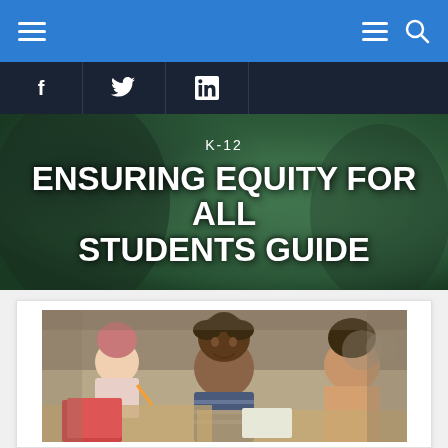Navigation bar with menu and search icons
f  𝕏  in
[Figure (photo): Hero banner with dark green blurred background showing close-up of a chalkboard]
K-12
ENSURING EQUITY FOR ALL STUDENTS GUIDE
[Figure (photo): Classroom photo showing young children sitting at desks working, with a smiling boy in the center foreground wearing a striped shirt]